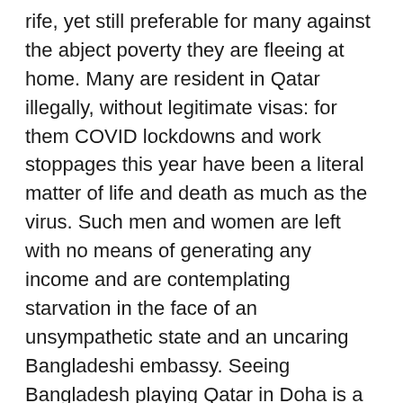rife, yet still preferable for many against the abject poverty they are fleeing at home. Many are resident in Qatar illegally, without legitimate visas: for them COVID lockdowns and work stoppages this year have been a literal matter of life and death as much as the virus. Such men and women are left with no means of generating any income and are contemplating starvation in the face of an unsympathetic state and an uncaring Bangladeshi embassy. Seeing Bangladesh playing Qatar in Doha is a rare opportunity of exhibiting national pride in these circumstances: no surprise then that some of the loudest noise in the stadium comes whenever Bangladesh are on the ball.
Day did get to join his team a few days before the tie, but it was hardly ideal preparation, and most believed that his team would line up to sit back, frustrate and take whatever